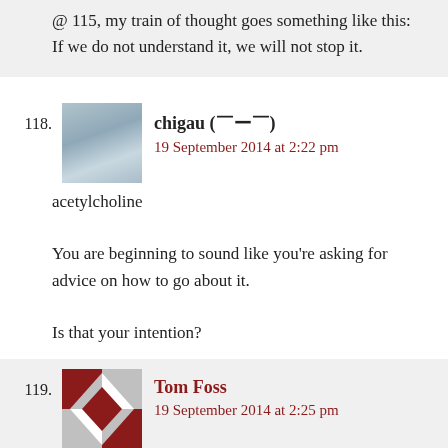@ 115, my train of thought goes something like this: If we do not understand it, we will not stop it.
118. chigau (￣ー￣) — 19 September 2014 at 2:22 pm
acetylcholine
You are beginning to sound like you're asking for advice on how to go about it.
Is that your intention?
119. Tom Foss — 19 September 2014 at 2:25 pm
@acetylcholine #112: Ah, another person come down from Privilege Mountain. Here's the thing: it's not that this topic is "somehow off limits." It's that, while you